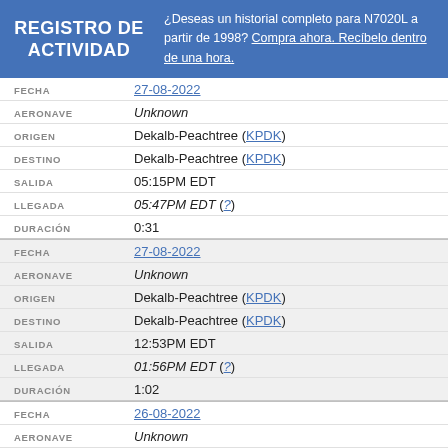REGISTRO DE ACTIVIDAD | ¿Deseas un historial completo para N7020L a partir de 1998? Compra ahora. Recíbelo dentro de una hora.
| Campo | Valor |
| --- | --- |
| FECHA | 27-08-2022 |
| AERONAVE | Unknown |
| ORIGEN | Dekalb-Peachtree (KPDK) |
| DESTINO | Dekalb-Peachtree (KPDK) |
| SALIDA | 05:15PM EDT |
| LLEGADA | 05:47PM EDT (?) |
| DURACIÓN | 0:31 |
| FECHA | 27-08-2022 |
| AERONAVE | Unknown |
| ORIGEN | Dekalb-Peachtree (KPDK) |
| DESTINO | Dekalb-Peachtree (KPDK) |
| SALIDA | 12:53PM EDT |
| LLEGADA | 01:56PM EDT (?) |
| DURACIÓN | 1:02 |
| FECHA | 26-08-2022 |
| AERONAVE | Unknown |
| ORIGEN | Dekalb-Peachtree (KPDK) |
| DESTINO | Dekalb-Peachtree (KPDK) |